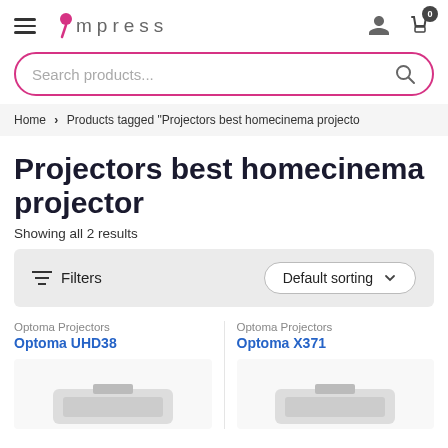Impress
Search products...
Home > Products tagged "Projectors best homecinema projecto
Projectors best homecinema projector
Showing all 2 results
Filters  Default sorting
Optoma Projectors
Optoma UHD38
Optoma Projectors
Optoma X371